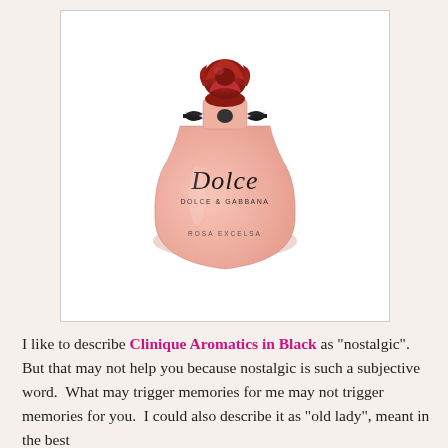[Figure (photo): A Dolce & Gabbana 'Dolce Rosa Excelsa' perfume bottle. The bottle has a rounded pink frosted glass shape with a black grosgrain ribbon bow at the neck. The cap is a large deep red rose. The label reads 'Dolce' in script, 'DOLCE & GABBANA' underneath, and 'ROSA EXCELSA' below that. The bottle is shown on a white background.]
I like to describe Clinique Aromatics in Black as "nostalgic".  But that may not help you because nostalgic is such a subjective word.  What may trigger memories for me may not trigger memories for you.  I could also describe it as "old lady", meant in the best